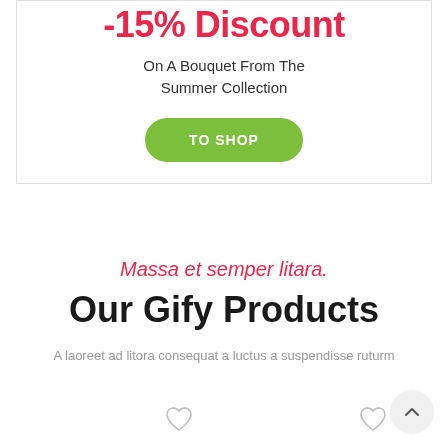-15% Discount
On A Bouquet From The Summer Collection
TO SHOP
Massa et semper litara.
Our Gify Products
A laoreet ad litora consequat a luctus a suspendisse ruturm